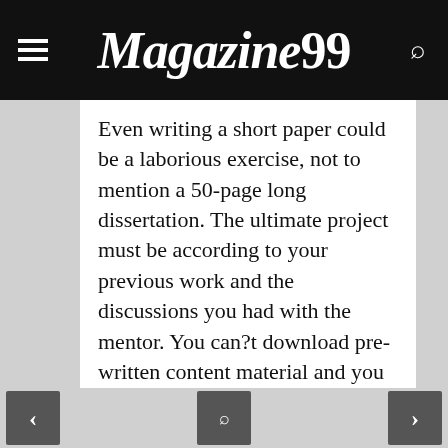Magazine99
Even writing a short paper could be a laborious exercise, not to mention a 50-page long dissertation. The ultimate project must be according to your previous work and the discussions you had with the mentor. You can?t download pre-written content material and you can?t give the writer full liberty on what to write. PrivateWriting is an amanizing resource for the scholars.
We have a safe on-line payment system for you to safely deposit the funds and switch